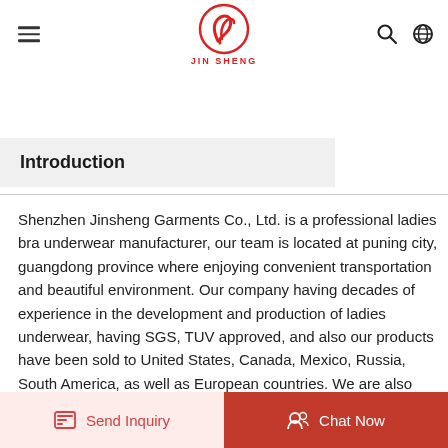JIN SHENG (logo with navigation icons)
Introduction
Shenzhen Jinsheng Garments Co., Ltd. is a professional ladies bra underwear manufacturer, our team is located at puning city, guangdong province where enjoying convenient transportation and beautiful environment. Our company having decades of experience in the development and production of ladies underwear, having SGS, TUV approved, and also our products have been sold to United States, Canada, Mexico, Russia, South America, as well as European countries. We are also constantly exploring new markets all over the world.
Send Inquiry   Chat Now